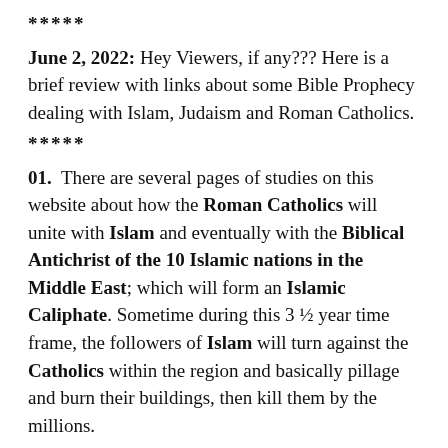*****
June 2, 2022: Hey Viewers, if any??? Here is a brief review with links about some Bible Prophecy dealing with Islam, Judaism and Roman Catholics.
*****
01.  There are several pages of studies on this website about how the Roman Catholics will unite with Islam and eventually with the Biblical Antichrist of the 10 Islamic nations in the Middle East; which will form an Islamic Caliphate. Sometime during this 3 ½ year time frame, the followers of Islam will turn against the Catholics within the region and basically pillage and burn their buildings, then kill them by the millions.